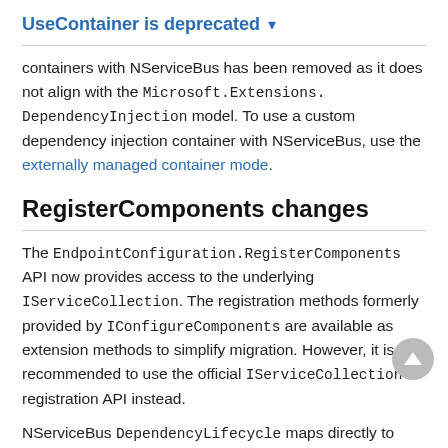UseContainer is deprecated ▾
containers with NServiceBus has been removed as it does not align with the Microsoft.Extensions.DependencyInjection model. To use a custom dependency injection container with NServiceBus, use the externally managed container mode.
RegisterComponents changes
The EndpointConfiguration.RegisterComponents API now provides access to the underlying IServiceCollection. The registration methods formerly provided by IConfigureComponents are available as extension methods to simplify migration. However, it is recommended to use the official IServiceCollection registration API instead.
NServiceBus DependencyLifecycle maps directly to